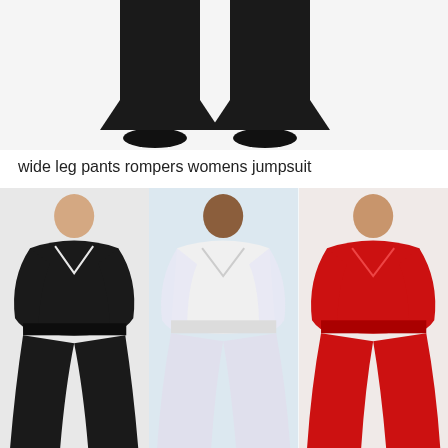[Figure (photo): Close-up photo showing the lower half of a person wearing wide-leg black pants and black high heels against a white background]
wide leg pants rompers womens jumpsuit
[Figure (photo): Three photos side by side showing models wearing wide-leg jumpsuits: left model in black long-sleeve wrap jumpsuit, center model in white long-sleeve wrap jumpsuit, right model in red long-sleeve wrap jumpsuit]